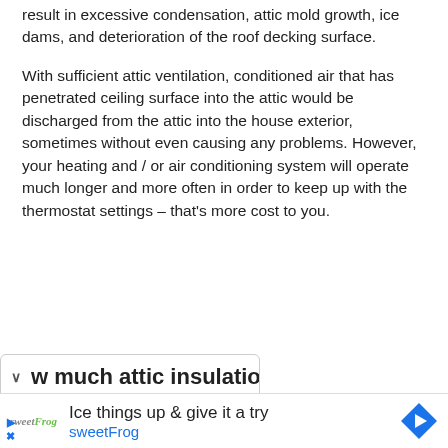result in excessive condensation, attic mold growth, ice dams, and deterioration of the roof decking surface.
With sufficient attic ventilation, conditioned air that has penetrated ceiling surface into the attic would be discharged from the attic into the house exterior, sometimes without even causing any problems. However, your heating and / or air conditioning system will operate much longer and more often in order to keep up with the thermostat settings – that's more cost to you.
w much attic insulation do
[Figure (other): Advertisement banner for sweetFrog frozen yogurt. Shows sweetFrog logo, text 'Ice things up & give it a try', 'sweetFrog' in blue, and a blue diamond-shaped navigation arrow icon.]